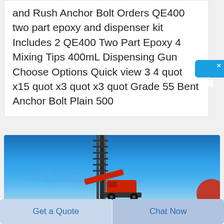and Rush Anchor Bolt Orders QE400 two part epoxy and dispenser kit Includes 2 QE400 Two Part Epoxy 4 Mixing Tips 400mL Dispensing Gun Choose Options Quick view 3 4 quot x15 quot x3 quot x3 quot Grade 55 Bent Anchor Bolt Plain 500
[Figure (photo): Photograph of a large drilling rig (red and black) against a bright blue sky, with a watermarked logo text overlay and a red circle element in the lower right corner.]
Get a Quote
Chat Now